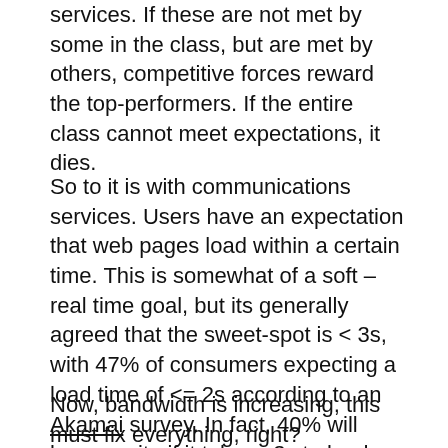services. If these are not met by some in the class, but are met by others, competitive forces reward the top-performers. If the entire class cannot meet expectations, it dies.
So to it is with communications services. Users have an expectation that web pages load within a certain time. This is somewhat of a soft – real time goal, but its generally agreed that the sweet-spot is < 3s, with 47% of consumers expecting a load time of <= 2s according to an Akamai survey. In fact, 40% will leave a site if it takes >3s to load according to the same study.
Now, bandwidth is increasing, this must fix everything, right?